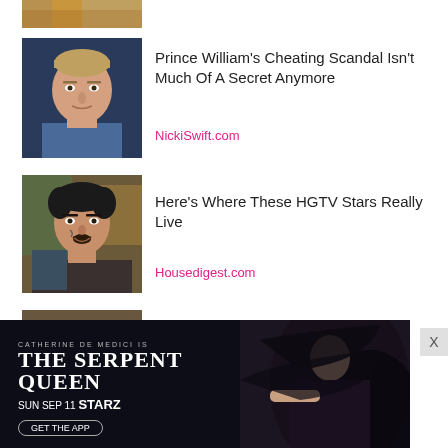[Figure (photo): Partial photo of a person (top portion cropped), colorful background]
[Figure (photo): Photo of Prince William, close-up portrait]
Prince William's Cheating Scandal Isn't Much Of A Secret Anymore
NickiSwift.com
[Figure (photo): Photo of a tattooed man smiling]
Here's Where These HGTV Stars Really Live
Housedigest.com
[Figure (photo): Photo of Matt Lauer, bald man close-up]
The Disturbing Transformation Of Matt Lauer Is Turning Heads
TheList.com
[Figure (photo): Advertisement banner for The Serpent Queen on Starz, featuring a woman in black with dark background. Text: CATHERINE DE MEDICI IS THE SERPENT QUEEN SUN SEP 11 STARZ GET THE APP]